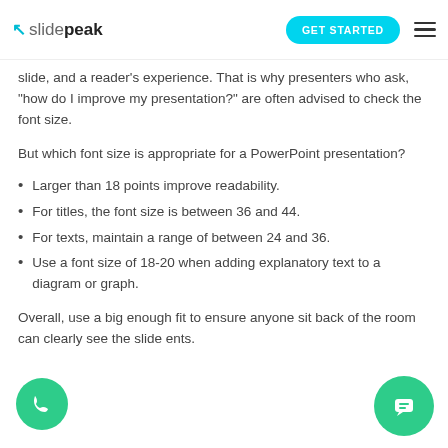slidepeak | GET STARTED
slide, and a reader's experience. That is why presenters who ask, “how do I improve my presentation?” are often advised to check the font size.
But which font size is appropriate for a PowerPoint presentation?
Larger than 18 points improve readability.
For titles, the font size is between 36 and 44.
For texts, maintain a range of between 24 and 36.
Use a font size of 18-20 when adding explanatory text to a diagram or graph.
Overall, use a big enough fit to ensure anyone sitting at the back of the room can clearly see the slides contents.